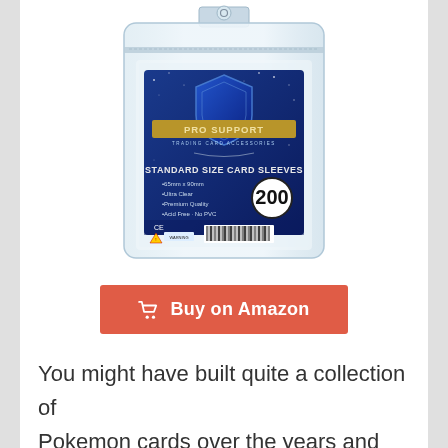[Figure (photo): Product photo of Pro Support Standard Size Card Sleeves (200 count) in a clear plastic resealable bag with a blue label showing the brand shield logo, product details (65mm x 90mm, Ultra Clear, Premium Quality, Acid Free, No PVC), barcode, CE mark, and warning symbol.]
Buy on Amazon
You might have built quite a collection of Pokemon cards over the years and would require